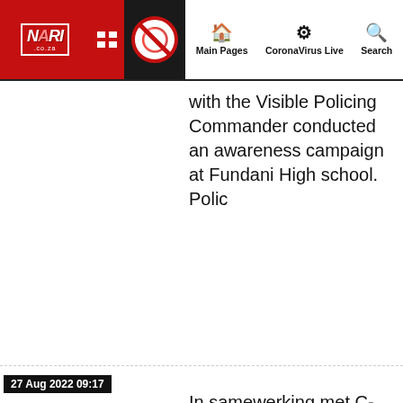NARI.co.za — Main Pages | CoronaVirus Live | Search
with the Visible Policing Commander conducted an awareness campaign at Fundani High school. Polic
27 Aug 2022 09:17
In samewerking met C-Max Armed Security Services en BOLT Risk Management kon ons daarin slaag om die verdagtes te identifiseer, te